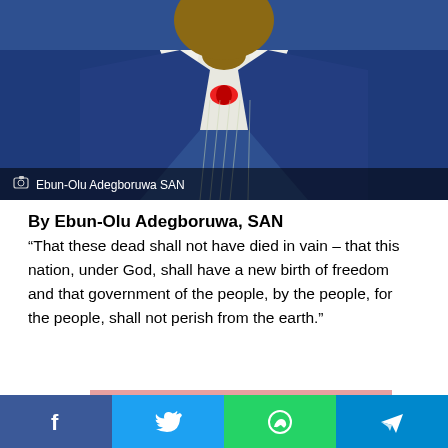[Figure (photo): Photo of Ebun-Olu Adegboruwa SAN, a man wearing a dark navy blue suit with a red bow tie and a red pin on his lapel. The bottom of the photo has a dark overlay banner.]
Ebun-Olu Adegboruwa SAN
By Ebun-Olu Adegboruwa, SAN
“That these dead shall not have died in vain – that this nation, under God, shall have a new birth of freedom and that government of the people, by the people, for the people, shall not perish from the earth.”
[Figure (infographic): Zenith Bank advertisement banner with pink/salmon background showing a 'WIN' text and '₦150,000' prize amount with the Zenith Bank Z logo in the top right corner.]